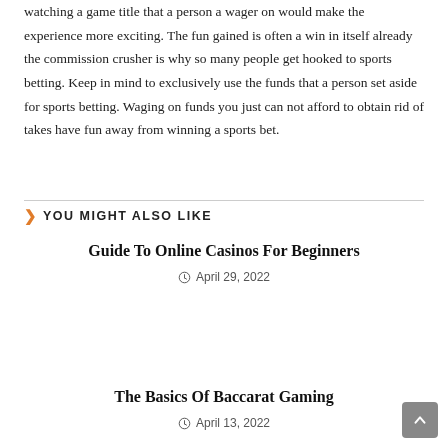watching a game title that a person a wager on would make the experience more exciting. The fun gained is often a win in itself already the commission crusher is why so many people get hooked to sports betting. Keep in mind to exclusively use the funds that a person set aside for sports betting. Waging on funds you just can not afford to obtain rid of takes have fun away from winning a sports bet.
YOU MIGHT ALSO LIKE
Guide To Online Casinos For Beginners
April 29, 2022
The Basics Of Baccarat Gaming
April 13, 2022